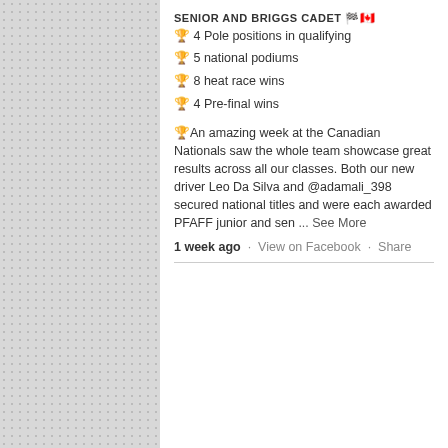SENIOR AND BRIGGS CADET 🏁🇨🇦
🏆 4 Pole positions in qualifying
🏆 5 national podiums
🏆 8 heat race wins
🏆 4 Pre-final wins
🏆An amazing week at the Canadian Nationals saw the whole team showcase great results across all our classes. Both our new driver Leo Da Silva and @adamali_398 secured national titles and were each awarded PFAFF junior and sen ... See More
1 week ago · View on Facebook · Share